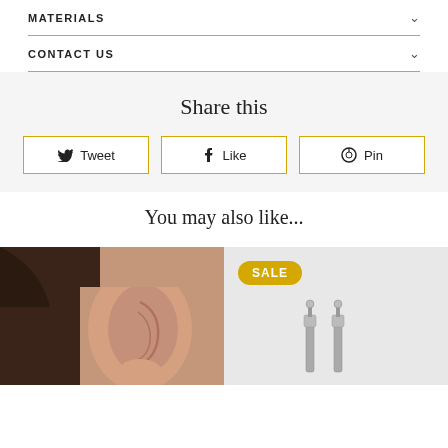MATERIALS
CONTACT US
Share this
Tweet
Like
Pin
You may also like...
[Figure (photo): Close-up photo of a woman's ear showing an earring]
[Figure (photo): Product photo of silver earrings with SALE badge]